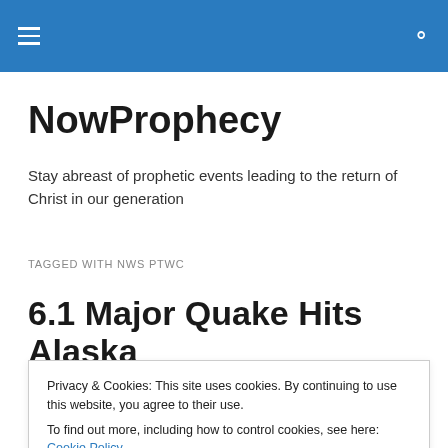NowProphecy [navigation bar with hamburger menu and search icon]
NowProphecy
Stay abreast of prophetic events leading to the return of Christ in our generation
TAGGED WITH NWS PTWC
6.1 Major Quake Hits Alaska
Privacy & Cookies: This site uses cookies. By continuing to use this website, you agree to their use.
To find out more, including how to control cookies, see here: Cookie Policy
Close and accept
Updated 7/25/25 to add Portland, Oregon, news on